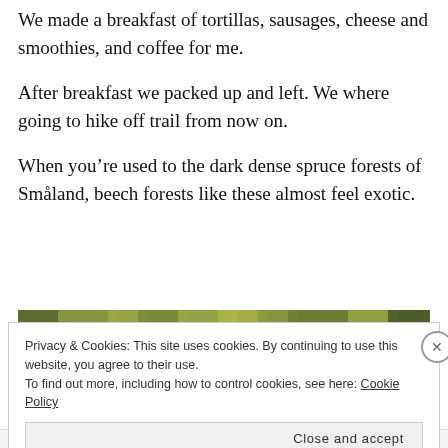We made a breakfast of tortillas, sausages, cheese and smoothies, and coffee for me.
After breakfast we packed up and left. We where going to hike off trail from now on.
When you’re used to the dark dense spruce forests of Småland, beech forests like these almost feel exotic.
[Figure (photo): Partial view of a forest photo, mostly obscured by a cookie consent banner overlay.]
Privacy & Cookies: This site uses cookies. By continuing to use this website, you agree to their use.
To find out more, including how to control cookies, see here: Cookie Policy
Close and accept